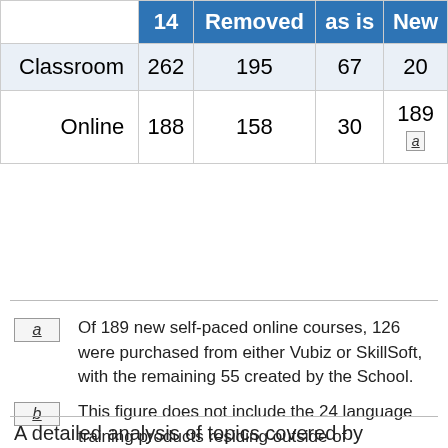|  | 14 | Removed | as is | New |
| --- | --- | --- | --- | --- |
| Classroom | 262 | 195 | 67 | 20 |
| Online | 188 | 158 | 30 | 189 a |
a — Of 189 new self-paced online courses, 126 were purchased from either Vubiz or SkillSoft, with the remaining 55 created by the School.
b — This figure does not include the 24 language training products residing outside of GCcampus.
A detailed analysis of topics covered by